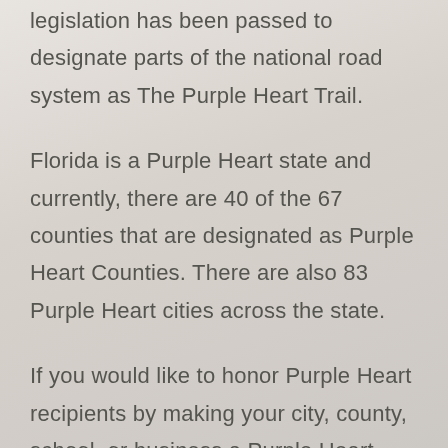legislation has been passed to designate parts of the national road system as The Purple Heart Trail.
Florida is a Purple Heart state and currently, there are 40 of the 67 counties that are designated as Purple Heart Counties. There are also 83 Purple Heart cities across the state.
If you would like to honor Purple Heart recipients by making your city, county, school, or business a Purple Heart entity then please email Ernie Rivera at adjutant@mophfl.org. You can download